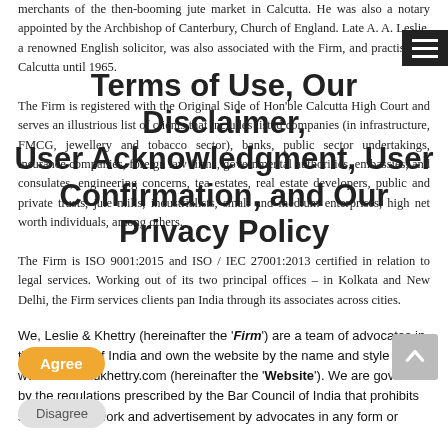merchants of the then-booming jute market in Calcutta. He was also a notary appointed by the Archbishop of Canterbury, Church of England. Late A. A. Leslie, a renowned English solicitor, was also associated with the Firm, and practised in Calcutta until 1965.
Terms of Use, Our Disclaimer, User Acknowledgment, User Confirmation, and Our Privacy Policy
The Firm is registered with the Original Side of Hon'ble Calcutta High Court and serves an illustrious list of clients that includes listed companies (in infrastructure, FMCG, jewellery and tobacco sector), banks, public sector undertakings, insurance companies, foreign law firms, governmental authorities, embassies, and consulates, engineering concerns, tea estates, real estate developers, public and private trusts, jute mills, industrialists, small and medium enterprises, high net worth individuals, among others.
We, Leslie & Khettry (hereinafter the 'Firm') are a team of advocates in the Republic of India and own the website by the name and style of www.leslieandkhettry.com (hereinafter the 'Website'). We are governed by the regulations prescribed by the Bar Council of India that prohibits solicitation of work and advertisement by advocates in any form or
The Firm is ISO 9001:2015 and ISO / IEC 27001:2013 certified in relation to legal services. Working out of its two principal offices – in Kolkata and New Delhi, the Firm services clients pan India through its associates across cities.